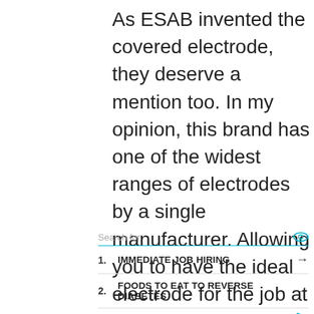As ESAB invented the covered electrode, they deserve a mention too. In my opinion, this brand has one of the widest ranges of electrodes by a single manufacturer. Allowing you to have the ideal electrode for the job at hand.
Search for
1. IMMEDIATE JOB HIRING
2. FOODS TO EAT TO REVERSE DIABETES
Yahoo! Search | Sponsored